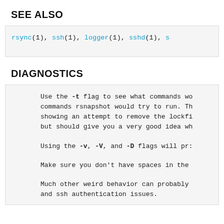SEE ALSO
rsync(1), ssh(1), logger(1), sshd(1), s…
DIAGNOSTICS
Use the -t flag to see what commands wo… commands rsnapshot would try to run. Th… showing an attempt to remove the lockf… but should give you a very good idea wh…

Using the -v, -V, and -D flags will pr…

Make sure you don't have spaces in the…

Much other weird behavior can probably… and ssh authentication issues.